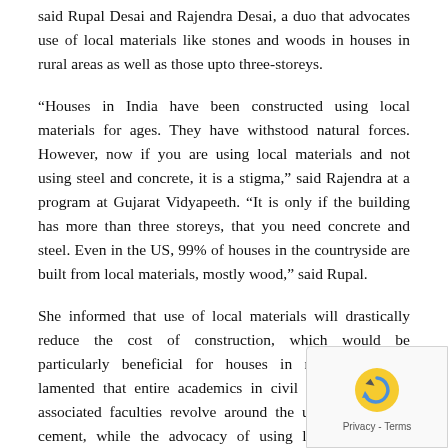said Rupal Desai and Rajendra Desai, a duo that advocates use of local materials like stones and woods in houses in rural areas as well as those upto three-storeys.
“Houses in India have been constructed using local materials for ages. They have withstood natural forces. However, now if you are using local materials and not using steel and concrete, it is a stigma,” said Rajendra at a program at Gujarat Vidyapeeth. “It is only if the building has more than three storeys, that you need concrete and steel. Even in the US, 99% of houses in the countryside are built from local materials, mostly wood,” said Rupal.
She informed that use of local materials will drastically reduce the cost of construction, which would be particularly beneficial for houses in rural areas but lamented that entire academics in civil engineering and associated faculties revolve around the use of steel and cement, while the advocacy of using locally available material has depleted to a great extent. “Now in academics, use of local materials for construction is not taught. So the skill of using local materials is depleting in the